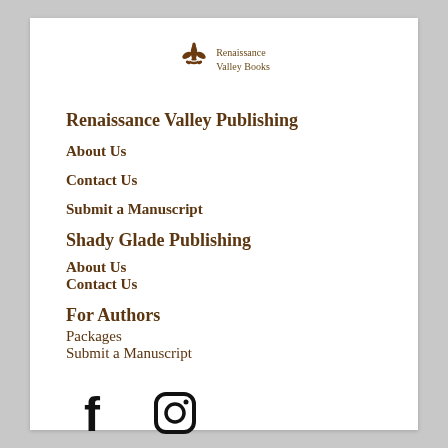[Figure (logo): Renaissance Valley Books fleur-de-lis logo with text 'Renaissance Valley Books']
Renaissance Valley Publishing
About Us
Contact Us
Submit a Manuscript
Shady Glade Publishing
About Us
Contact Us
For Authors
Packages
Submit a Manuscript
[Figure (illustration): Facebook and Instagram social media icons]